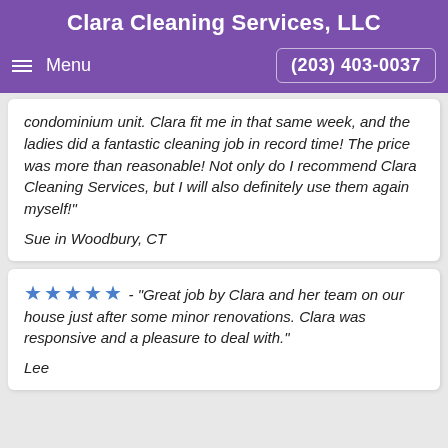Clara Cleaning Services, LLC
Menu   (203) 403-0037
condominium unit. Clara fit me in that same week, and the ladies did a fantastic cleaning job in record time! The price was more than reasonable! Not only do I recommend Clara Cleaning Services, but I will also definitely use them again myself"
Sue in Woodbury, CT
★★★★★ - "Great job by Clara and her team on our house just after some minor renovations. Clara was responsive and a pleasure to deal with."
Lee